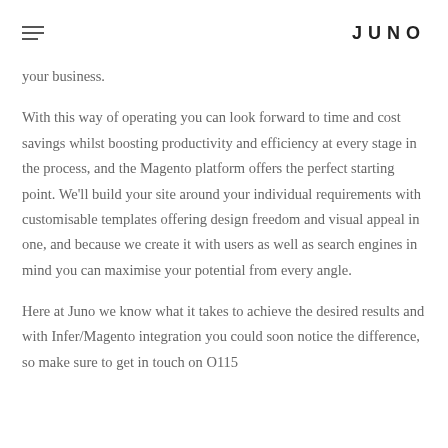JUNO
your business.
With this way of operating you can look forward to time and cost savings whilst boosting productivity and efficiency at every stage in the process, and the Magento platform offers the perfect starting point. We’ll build your site around your individual requirements with customisable templates offering design freedom and visual appeal in one, and because we create it with users as well as search engines in mind you can maximise your potential from every angle.
Here at Juno we know what it takes to achieve the desired results and with Infer/Magento integration you could soon notice the difference, so make sure to get in touch on O115